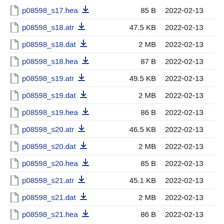p08598_s17.hea  85 B  2022-02-13
p08598_s18.atr  47.5 KB  2022-02-13
p08598_s18.dat  2 MB  2022-02-13
p08598_s18.hea  87 B  2022-02-13
p08598_s19.atr  49.5 KB  2022-02-13
p08598_s19.dat  2 MB  2022-02-13
p08598_s19.hea  86 B  2022-02-13
p08598_s20.atr  46.5 KB  2022-02-13
p08598_s20.dat  2 MB  2022-02-13
p08598_s20.hea  85 B  2022-02-13
p08598_s21.atr  45.1 KB  2022-02-13
p08598_s21.dat  2 MB  2022-02-13
p08598_s21.hea  86 B  2022-02-13